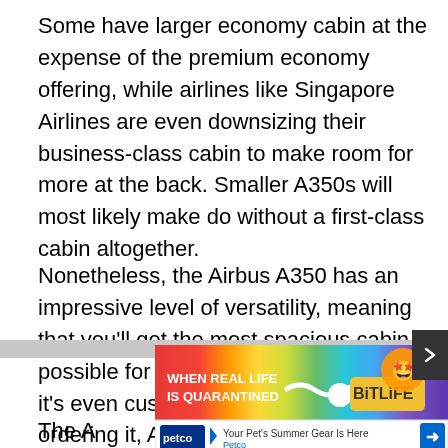Some have larger economy cabin at the expense of the premium economy offering, while airlines like Singapore Airlines are even downsizing their business-class cabin to make room for more at the back. Smaller A350s will most likely make do without a first-class cabin altogether.
Nonetheless, the Airbus A350 has an impressive level of versatility, meaning that you'll get the most spacious cabin possible for your flight and class. Before it's even customised for the airline ordering it, Airbus has already incorporated a wide range of techno[...] ir new a[...]
[Figure (other): Advertisement overlay: BitLife game ad with rainbow gradient background and text 'WHEN REAL LIFE IS QUARANTINED', overlaid on page content. Below it, a Petco ad reading 'Your Pet's Summer Gear Is Here - Petco'.]
The A[...] ne